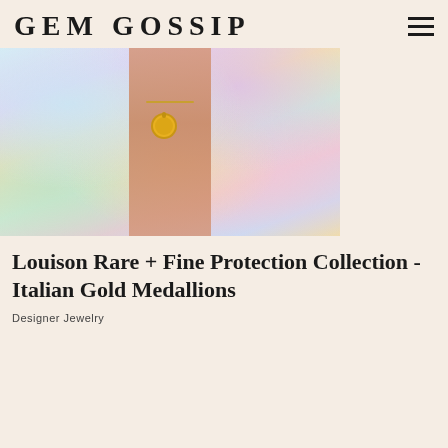GEM GOSSIP
[Figure (photo): Person wearing a gold medallion necklace, dressed in a colorful pastel tie-dye garment, photo cropped to show chest/neckline area]
Louison Rare + Fine Protection Collection - Italian Gold Medallions
Designer Jewelry